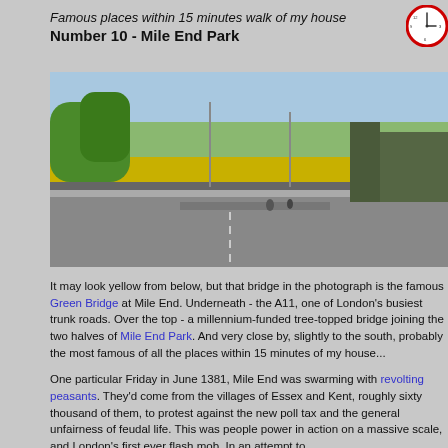Famous places within 15 minutes walk of my house
Number 10 - Mile End Park
[Figure (photo): Photograph of the Green Bridge at Mile End, a yellow-topped pedestrian and cycle bridge spanning the A11 road, with trees, buildings and street visible in background]
It may look yellow from below, but that bridge in the photograph is the famous Green Bridge at Mile End. Underneath - the A11, one of London's busiest trunk roads. Over the top - a millennium-funded tree-topped bridge joining the two halves of Mile End Park. And very close by, slightly to the south, probably the most famous of all the places within 15 minutes of my house...
One particular Friday in June 1381, Mile End was swarming with revolting peasants. They'd come from the villages of Essex and Kent, roughly sixty thousand of them, to protest against the new poll tax and the general unfairness of feudal life. This was people power in action on a massive scale, and London's first ever flash mob. In an attempt to